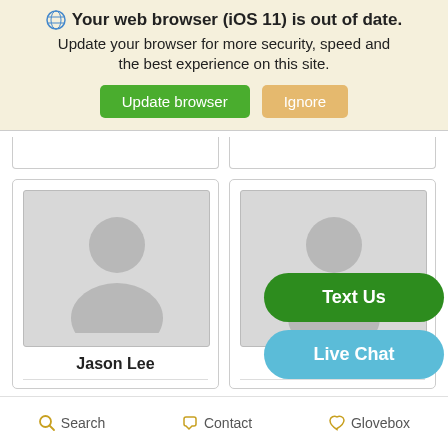[Figure (screenshot): Browser update warning banner with globe icon, bold text 'Your web browser (iOS 11) is out of date.', subtext 'Update your browser for more security, speed and the best experience on this site.', green 'Update browser' button and orange 'Ignore' button]
[Figure (screenshot): Partial top of two profile cards visible at top]
[Figure (screenshot): Profile card for Jason Lee with placeholder avatar (gray person silhouette)]
[Figure (screenshot): Profile card for Kyle S with placeholder avatar (gray person silhouette), partially covered by floating buttons]
[Figure (screenshot): Floating green 'Text Us' button and blue 'Live Chat' button overlaying the right profile card]
[Figure (screenshot): Bottom navigation bar with Search, Contact, and Glovebox icons]